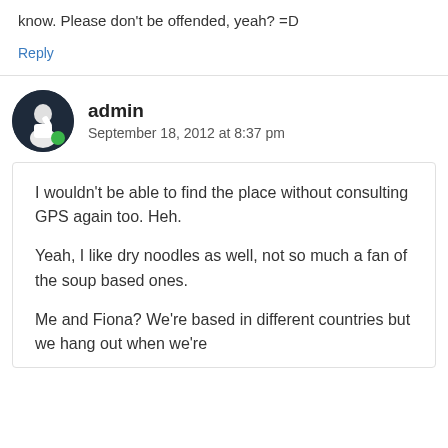know. Please don't be offended, yeah? =D
Reply
admin
September 18, 2012 at 8:37 pm
I wouldn't be able to find the place without consulting GPS again too. Heh.
Yeah, I like dry noodles as well, not so much a fan of the soup based ones.
Me and Fiona? We're based in different countries but we hang out when we're